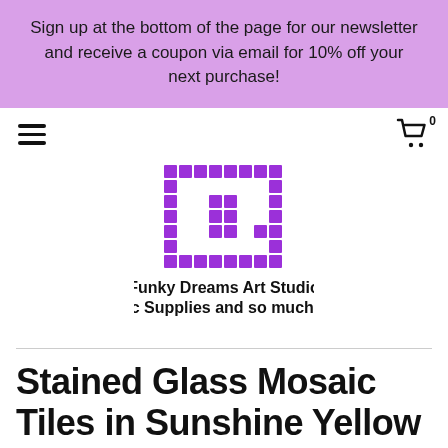Sign up at the bottom of the page for our newsletter and receive a coupon via email for 10% off your next purchase!
[Figure (logo): Funky Dreams Art Studio mosaic pixel logo — purple square made of small purple squares with hollow center, with text 'Funky Dreams Art Studio   Mosaic Supplies and so much more!']
Stained Glass Mosaic Tiles in Sunshine Yellow - 1/2 Pound - 5-15 mm Various Shapes